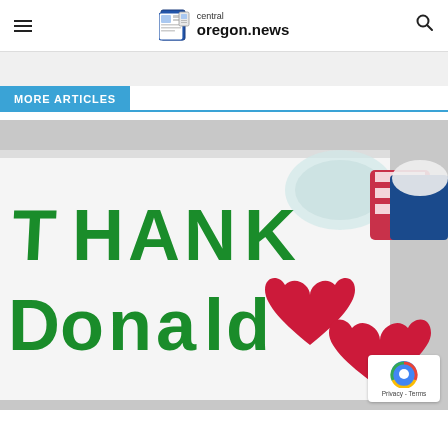central oregon.news
MORE ARTICLES
[Figure (photo): A handmade sign reading 'Thank Donald' in green letters with a red heart, on a white paper, with patriotic decorations in the background.]